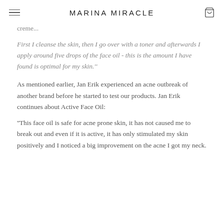MARINA MIRACLE
creme...
First I cleanse the skin, then I go over with a toner and afterwards I apply around five drops of the face oil - this is the amount I have found is optimal for my skin.''
As mentioned earlier, Jan Erik experienced an acne outbreak of another brand before he started to test our products. Jan Erik continues about Active Face Oil:
''This face oil is safe for acne prone skin, it has not caused me to break out and even if it is active, it has only stimulated my skin positively and I noticed a big improvement on the acne I got my neck.